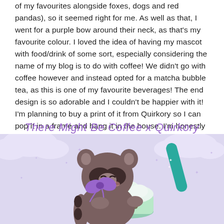of my favourites alongside foxes, dogs and red pandas), so it seemed right for me. As well as that, I went for a purple bow around their neck, as that's my favourite colour. I loved the idea of having my mascot with food/drink of some sort, especially considering the name of my blog is to do with coffee! We didn't go with coffee however and instead opted for a matcha bubble tea, as this is one of my favourite beverages! The end design is so adorable and I couldn't be happier with it! I'm planning to buy a print of it from Quirkory so I can pop it in a frame and hang it in the house. I'm honestly a mixture of happy and proud to now be more than just a fan/buyer of Quirkory, but now working with them too.
There Might Be Coffee x Quirkory
[Figure (illustration): Kawaii-style raccoon character with a purple bow, hugging a matcha bubble tea cup with a teal straw, on a light purple background with cloud shapes and sparkle stars.]